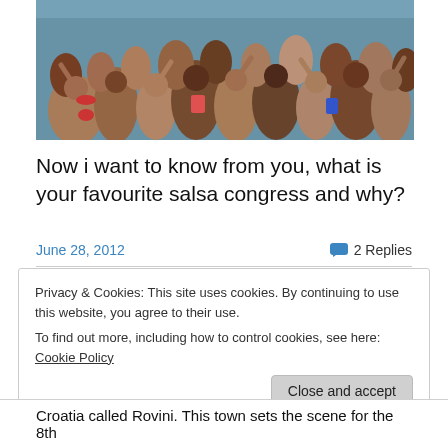[Figure (photo): A large crowd of people at an outdoor pool party, many in swimwear, splashing and dancing in and around a pool on a sunny day.]
Now i want to know from you, what is your favourite salsa congress and why?
June 28, 2012  💬 2 Replies
Privacy & Cookies: This site uses cookies. By continuing to use this website, you agree to their use.
To find out more, including how to control cookies, see here: Cookie Policy
Close and accept
Croatia called Rovini. This town sets the scene for the 8th